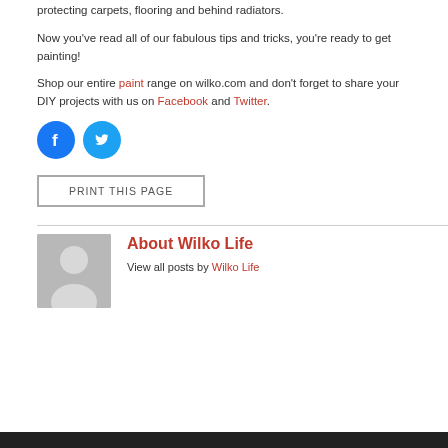protecting carpets, flooring and behind radiators.
Now you've read all of our fabulous tips and tricks, you're ready to get painting!
Shop our entire paint range on wilko.com and don't forget to share your DIY projects with us on Facebook and Twitter.
[Figure (logo): Facebook and Twitter social media icon circles]
PRINT THIS PAGE
[Figure (photo): Generic person avatar placeholder image for Wilko Life author]
About Wilko Life
View all posts by Wilko Life